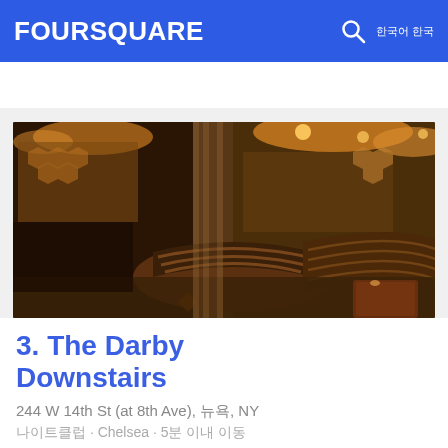FOURSQUARE
[Figure (photo): Interior of The Darby Downstairs nightclub/bar showing curved booth seating, warm amber lighting, honeycomb wall decor, and wooden floors]
3. The Darby Downstairs
244 W 14th St (at 8th Ave), 뉴욕, NY
나이트클럽 · Chelsea · 5분 이내 이동
Mark Ruiz: Don't let the calm at the door fool you... Wednesday nights are flooded w/ models & NYC's